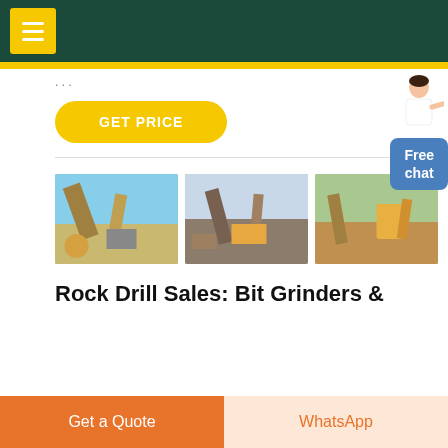[Figure (screenshot): Website header with dark green background and yellow hamburger menu button]
...
[Figure (other): GET PRICE yellow pill button]
[Figure (other): Free chat widget with person icon and blue box labeled Free chat]
[Figure (photo): Three photos of rock drilling / mining equipment and machinery outdoors]
Rock Drill Sales: Bit Grinders &
[Figure (other): Get a Quote orange button and WhatsApp peach button at bottom]